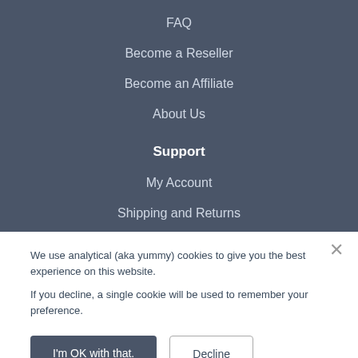FAQ
Become a Reseller
Become an Affiliate
About Us
Support
My Account
Shipping and Returns
We use analytical (aka yummy) cookies to give you the best experience on this website.
If you decline, a single cookie will be used to remember your preference.
I'm OK with that.
Decline